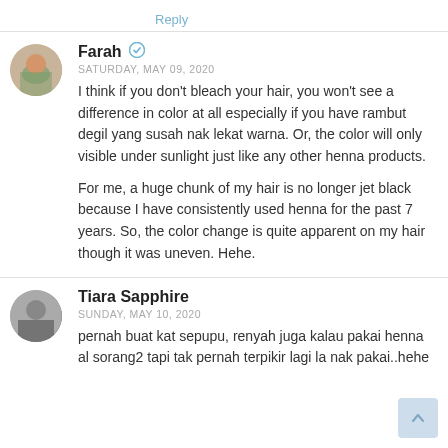Reply
Farah ✓
SATURDAY, MAY 09, 2020

I think if you don't bleach your hair, you won't see a difference in color at all especially if you have rambut degil yang susah nak lekat warna. Or, the color will only visible under sunlight just like any other henna products.

For me, a huge chunk of my hair is no longer jet black because I have consistently used henna for the past 7 years. So, the color change is quite apparent on my hair though it was uneven. Hehe.
Tiara Sapphire
SUNDAY, MAY 10, 2020

pernah buat kat sepupu, renyah juga kalau pakai henna al sorang2 tapi tak pernah terpikir lagi la nak pakai..hehe